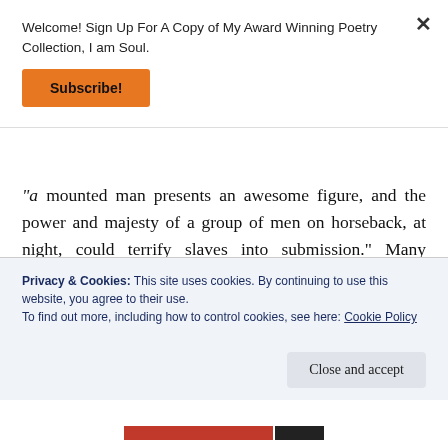Welcome! Sign Up For A Copy of My Award Winning Poetry Collection, I am Soul.
Subscribe!
"a mounted man presents an awesome figure, and the power and majesty of a group of men on horseback, at night, could terrify slaves into submission." Many members of the black community still refer to large police vehicles as "patty-wagons," a play on the former "paddyrollers,"
Privacy & Cookies: This site uses cookies. By continuing to use this website, you agree to their use.
To find out more, including how to control cookies, see here: Cookie Policy
Close and accept